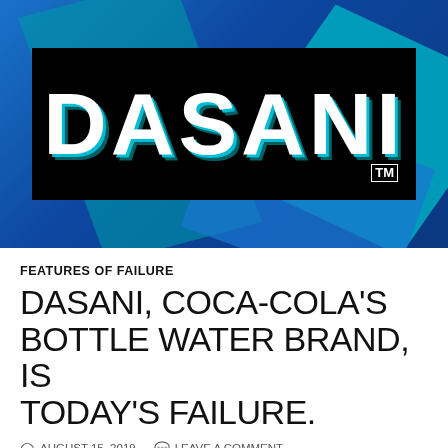[Figure (logo): Dasani water brand logo — white bold text on black background with teal/blue drop shadow, set against a blue geometric background]
FEATURES OF FAILURE
DASANI, COCA-COLA'S BOTTLE WATER BRAND, IS TODAY'S FAILURE.
AUGUST 15, 2019   LEAVE A COMMENT